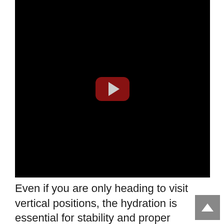[Figure (screenshot): Embedded YouTube video player showing a black/unloaded video with a red YouTube play button in the center]
Even if you are only heading to visit vertical positions, the hydration is essential for stability and proper performance of your